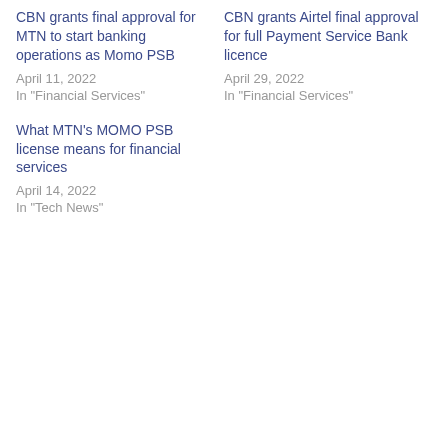CBN grants final approval for MTN to start banking operations as Momo PSB
April 11, 2022
In "Financial Services"
CBN grants Airtel final approval for full Payment Service Bank licence
April 29, 2022
In "Financial Services"
What MTN's MOMO PSB license means for financial services
April 14, 2022
In "Tech News"